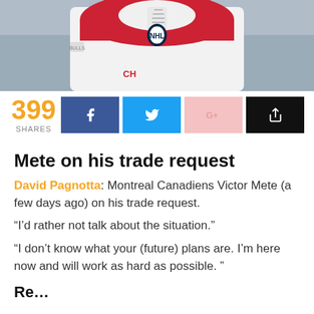[Figure (photo): Hockey player in white Montreal Canadiens jersey with red yoke and NHL logo, photo cropped to show chest and shoulders]
399 SHARES
Mete on his trade request
David Pagnotta: Montreal Canadiens Victor Mete (a few days ago) on his trade request.
“I’d rather not talk about the situation.”
“I don’t know what your (future) plans are. I’m here now and will work as hard as possible. ”
Re…